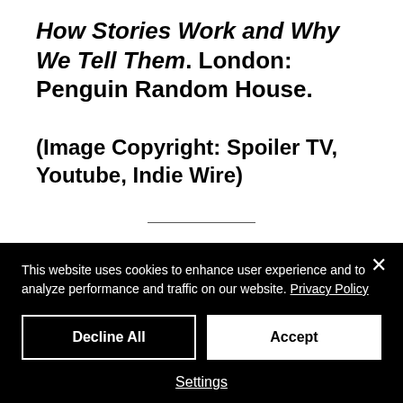How Stories Work and Why We Tell Them. London: Penguin Random House.
(Image Copyright: Spoiler TV, Youtube, Indie Wire)
Ria is a graduate of Falmouth University, MA Writing for Social...
This website uses cookies to enhance user experience and to analyze performance and traffic on our website. Privacy Policy
Decline All
Accept
Settings